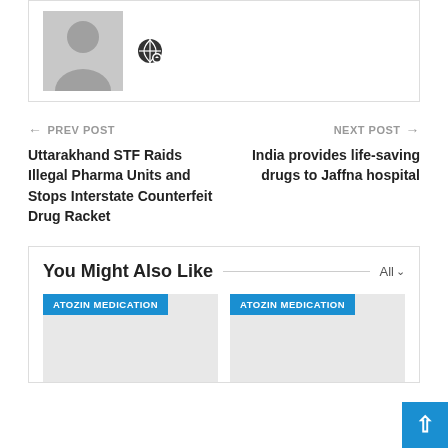[Figure (photo): User avatar placeholder with silhouette icon and a globe/location icon]
← PREV POST
NEXT POST →
Uttarakhand STF Raids Illegal Pharma Units and Stops Interstate Counterfeit Drug Racket
India provides life-saving drugs to Jaffna hospital
You Might Also Like
ATOZIN MEDICATION
ATOZIN MEDICATION